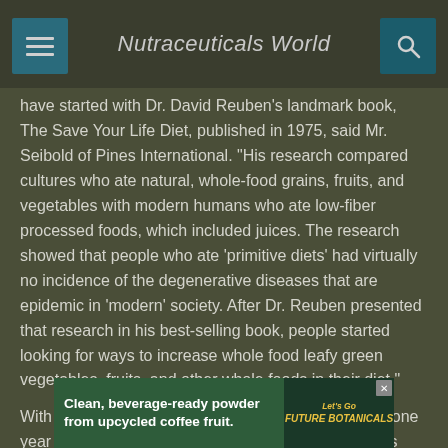Nutraceuticals World
have started with Dr. David Reuben's landmark book, The Save Your Life Diet, published in 1975, said Mr. Seibold of Pines International. "His research compared cultures who ate natural, whole-food grains, fruits, and vegetables with modern humans who ate low-fiber processed foods, which included juices. The research showed that people who ate 'primitive diets' had virtually no incidence of the degenerative diseases that are epidemic in 'modern' society. After Dr. Reuben presented that research in his best-selling book, people started looking for ways to increase whole food leafy green vegetables, fruits, and other whole foods in their diet."
With the introduction of Pines Wheat Grass in 1976, one year after the publication of Dr. Reuben's book, Pines
[Figure (photo): Advertisement banner: Clean, beverage-ready powder from upcycled coffee fruit. Let's Go Future Botanicals logo.]